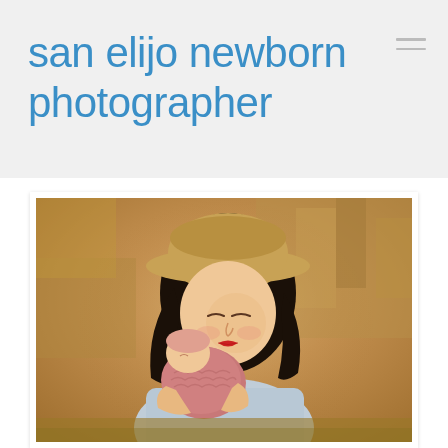san elijo newborn photographer
[Figure (photo): A woman wearing a tan wide-brim hat and light blue top holds a sleeping newborn baby wrapped in a dusty rose/pink knit swaddle. The woman has dark hair, red lipstick, and her eyes are closed as she cradles the baby close to her cheek. The background is a field of dry golden grass, photographed with a shallow depth of field creating a warm, bokeh background.]